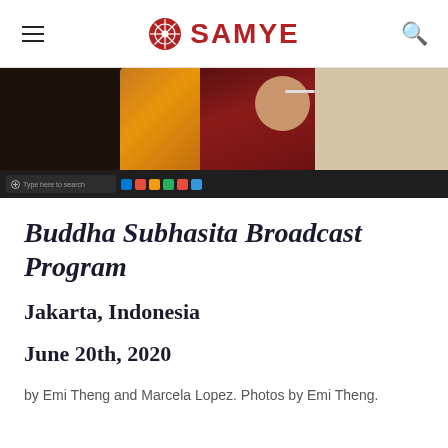SAMYE
[Figure (screenshot): Screenshot of a video call showing a person in Buddhist monk robes (maroon/red) and another in orange robes, with a Windows taskbar visible at the bottom of the screen.]
Buddha Subhasita Broadcast Program
Jakarta, Indonesia
June 20th, 2020
by Emi Theng and Marcela Lopez. Photos by Emi Theng.